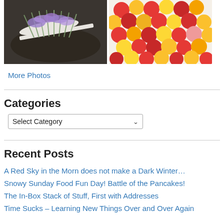[Figure (photo): Two photos side by side: left shows lavender sprigs on a white plate on dark soil; right shows a tray of mixed red and yellow cherries]
More Photos
Categories
Select Category
Recent Posts
A Red Sky in the Morn does not make a Dark Winter…
Snowy Sunday Food Fun Day! Battle of the Pancakes!
The In-Box Stack of Stuff, First with Addresses
Time Sucks – Learning New Things Over and Over Again